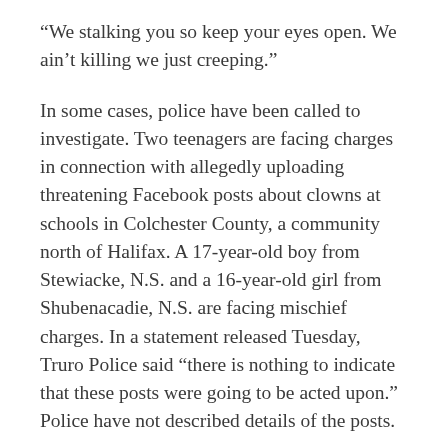“We stalking you so keep your eyes open. We ain’t killing we just creeping.”
In some cases, police have been called to investigate. Two teenagers are facing charges in connection with allegedly uploading threatening Facebook posts about clowns at schools in Colchester County, a community north of Halifax. A 17-year-old boy from Stewiacke, N.S. and a 16-year-old girl from Shubenacadie, N.S. are facing mischief charges. In a statement released Tuesday, Truro Police said “there is nothing to indicate that these posts were going to be acted upon.” Police have not described details of the posts.
In yet another incident in the Maritime province this week, a 24-year-old man was arrested in Clarks Harbor, N.S. on Tuesday after witnesses told police he was walking down